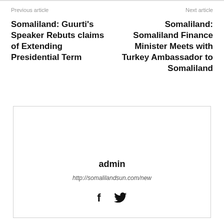Previous article | Next article
Somaliland: Guurti's Speaker Rebuts claims of Extending Presidential Term
Somaliland: Somaliland Finance Minister Meets with Turkey Ambassador to Somaliland
admin
http://somalilandsun.com/new
[Figure (other): Author profile box with admin name, URL, and social media icons (Facebook and Twitter)]